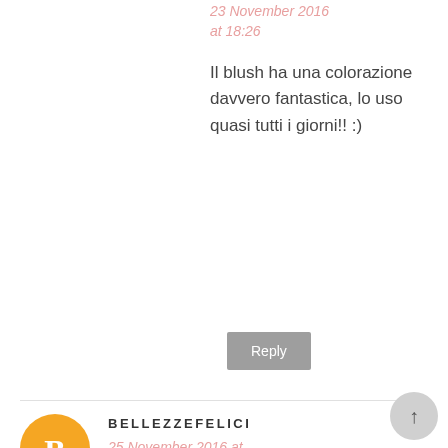23 November 2016 at 18:26
Il blush ha una colorazione davvero fantastica, lo uso quasi tutti i giorni!! :)
Reply
BELLEZZEFELICI
25 November 2016 at 22:45
Carinissimo il blush! Anche la box è molto interessante :)